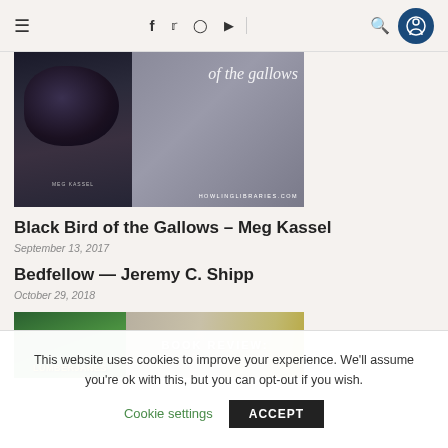Navigation bar with hamburger menu, social icons (f, twitter, instagram, youtube), search, and accessibility button
[Figure (photo): Book cover banner for Black Bird of the Gallows by Meg Kassel with text 'of the gallows' in script and HOWLINGLIBRARIES.COM]
Black Bird of the Gallows – Meg Kassel
September 13, 2017
Bedfellow — Jeremy C. Shipp
October 29, 2018
[Figure (photo): Book review banner showing Lumberjanes logo on the left and BOOK REVIEW: text on the right]
This website uses cookies to improve your experience. We'll assume you're ok with this, but you can opt-out if you wish.
Cookie settings   ACCEPT